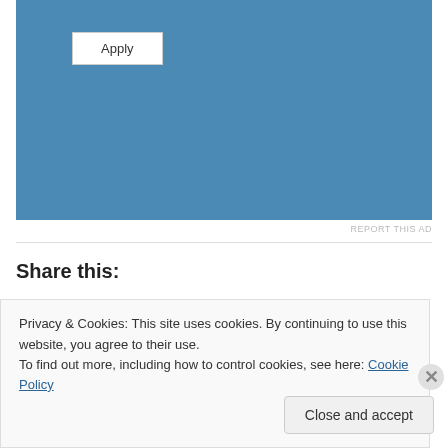[Figure (other): Blue advertisement banner with an Apply button]
REPORT THIS AD
Share this:
Twitter Facebook Email Print Reddit Pinterest Tumblr
Privacy & Cookies: This site uses cookies. By continuing to use this website, you agree to their use.
To find out more, including how to control cookies, see here: Cookie Policy